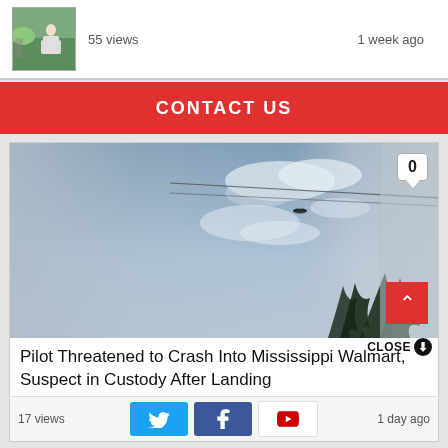[Figure (screenshot): Thumbnail of a video showing a person outdoors near greenery]
55 views
1 week ago
CONTACT US
[Figure (screenshot): Video screenshot showing sky with clouds, power lines, a bird/object in the air, and tree silhouettes. A comment bubble shows 0 and a red scroll-up button is visible.]
Pilot Threatened to Crash Into Mississippi Walmart, Suspect in Custody After Landing
CLOSE
17 views
1 day ago